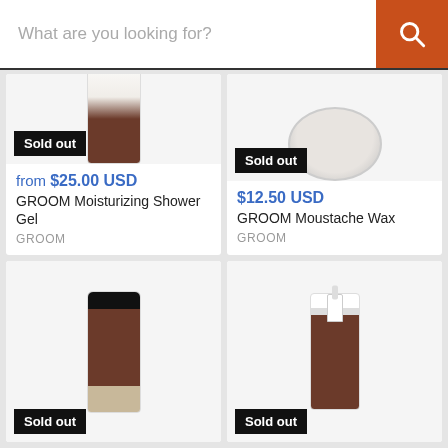[Figure (screenshot): E-commerce search bar with orange search button]
[Figure (photo): GROOM Moisturizing Shower Gel product with Sold out badge]
from $25.00 USD
GROOM Moisturizing Shower Gel
GROOM
[Figure (photo): GROOM Moustache Wax product tin with Sold out badge]
$12.50 USD
GROOM Moustache Wax
GROOM
[Figure (photo): GROOM face wash bottle with Sold out badge]
[Figure (photo): GROOM Deodorant spray bottle with Sold out badge]